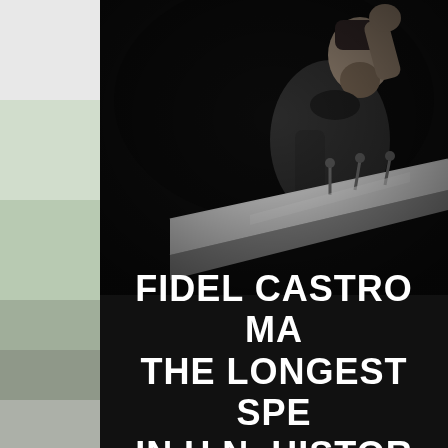[Figure (photo): Black and white photograph of Fidel Castro speaking at a podium, gesturing with his fist raised, at the United Nations General Assembly. The podium has a wide angled lectern in the foreground.]
FIDEL CASTRO MA THE LONGEST SPE IN U.N. HISTOR